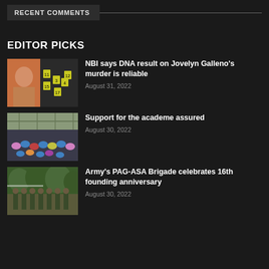RECENT COMMENTS
EDITOR PICKS
[Figure (photo): Photo of a woman beside crime scene evidence markers]
NBI says DNA result on Jovelyn Galleno’s murder is reliable
August 31, 2022
[Figure (photo): Photo of people seated in a covered gymnasium or hall]
Support for the academe assured
August 30, 2022
[Figure (photo): Photo of military soldiers in formation outdoors]
Army’s PAG-ASA Brigade celebrates 16th founding anniversary
August 30, 2022